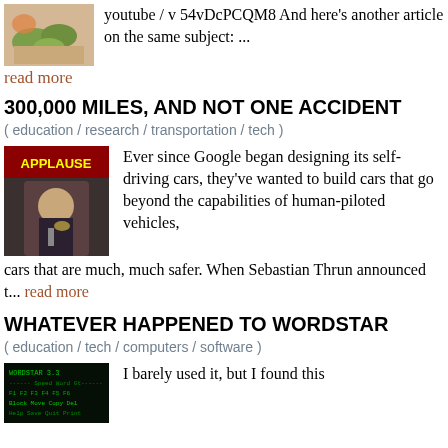[Figure (photo): Thumbnail image of plants/herbs on a surface]
youtube / v 54vDcPCQM8 And here's another article on the same subject: ...
read more
300,000 MILES, AND NOT ONE ACCIDENT
( education / research / transportation / tech )
[Figure (photo): Man in suit under an APPLAUSE sign]
Ever since Google began designing its self-driving cars, they've wanted to build cars that go beyond the capabilities of human-piloted vehicles, cars that are much, much safer. When Sebastian Thrun announced t... read more
WHATEVER HAPPENED TO WORDSTAR
( education / tech / computers / software )
[Figure (screenshot): Dark terminal/screen with green text]
I barely used it, but I found this